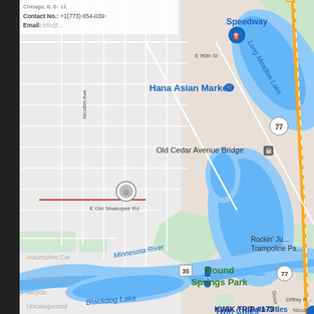[Figure (map): Google Maps screenshot showing area around Bloomington/Richfield Minnesota including landmarks: Speedway gas station, Hana Asian Market, Old Cedar Avenue Bridge, Mound Springs Park, Minnesota River, Blackdog Lake, Long Meadow Lake, Twin Cities Premium Outlets, Rockin' Jump Trampoline Park, KWIK TRIP #179, highways 77 and 35. Contact overlay shows Chicago IL address, phone +1(773) 654-039x, and Email field. A location marker pin is shown near E Old Shakopee Rd and Nicollet Ave with a red horizontal line.]
Chicago, IL 0x 11
Contact No.: +1(773) 654-039x
Email: info@...